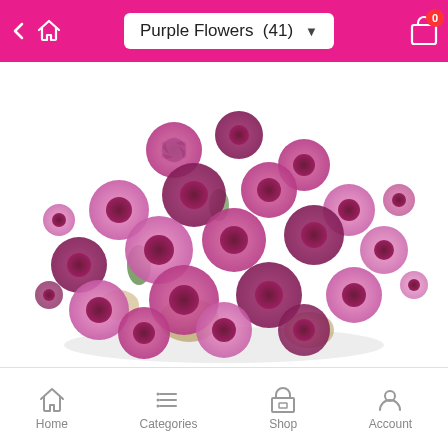Purple Flowers (41)
[Figure (photo): A large bouquet of purple/pink chrysanthemum flowers on a white background]
Home  Categories  Shop  Account